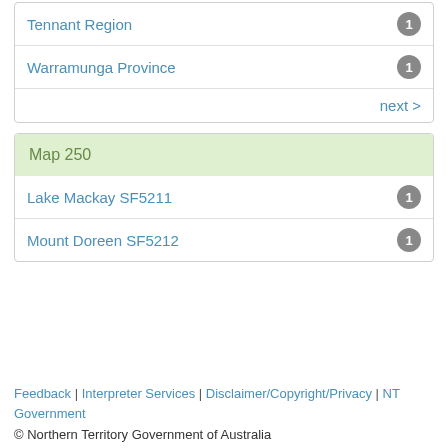Tennant Region | 1
Warramunga Province | 1
next >
Map 250
Lake Mackay SF5211 | 1
Mount Doreen SF5212 | 1
Feedback | Interpreter Services | Disclaimer/Copyright/Privacy | NT Government
© Northern Territory Government of Australia